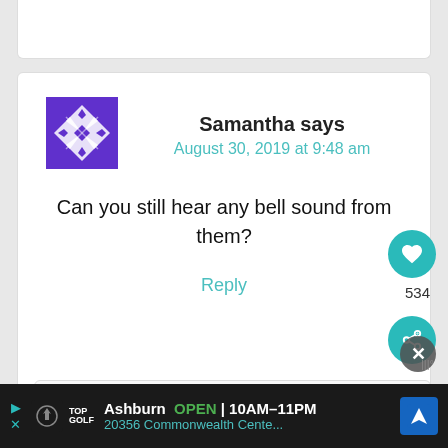[Figure (screenshot): Top white card partial view at top of page]
Samantha says
August 30, 2019 at 9:48 am
Can you still hear any bell sound from them?
Reply
534
Katie T. Christiansen says
Ashburn  OPEN  10AM–11PM  20356 Commonwealth Cente...